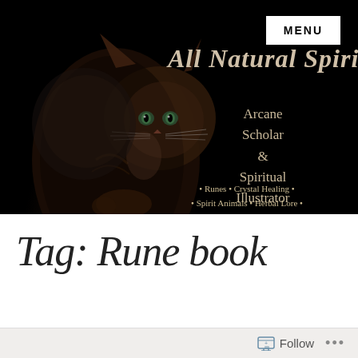[Figure (illustration): Dark banner with a mystic cat (tabby with glowing eyes) on the left side against a black background, with decorative text overlay for 'All Natural Spirit' website header. Includes a white MENU button in the top-right corner.]
Tag: Rune book
Follow ...